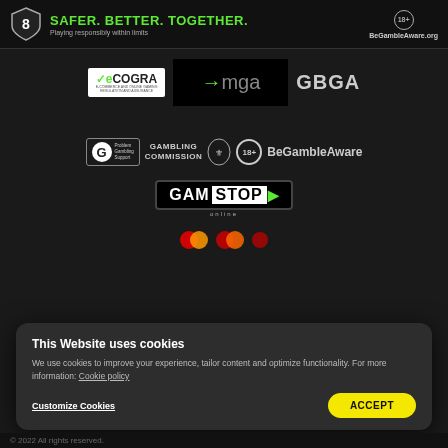[Figure (infographic): Top banner: shield logo with number 8, green text SAFER. BETTER. TOGETHER., subtext Playing responsibly within limits, 18+ badge, BeGambleAware.org logo]
[Figure (logo): eCOGRA logo, MGA (Malta Gaming Authority) logo on black background, GBGA logo]
[Figure (logo): GamCare Problem Gambling Support logo, Gambling Commission text, royal crest, 18+ badge, BeGambleAware logo]
[Figure (logo): GamStop online logo]
[Figure (logo): Payment method icons (Mastercard and others, partially visible)]
This Website uses cookies
We use cookies to improve your experience, tailor content and optimize functionality. For more information: Cookie policy
Customize Cookies
ACCEPT
© 2022 All rights reserved.